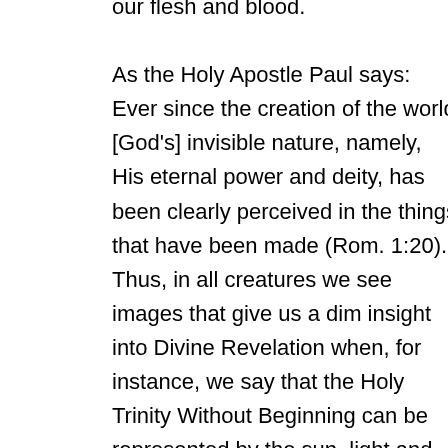our flesh and blood. As the Holy Apostle Paul says: Ever since the creation of the world [God's] invisible nature, namely, His eternal power and deity, has been clearly perceived in the things that have been made (Rom. 1:20). Thus, in all creatures we see images that give us a dim insight into Divine Revelation when, for instance, we say that the Holy Trinity Without Beginning can be represented by the sun, light and the ray, or by the mind, the word and the spirit that is within us, or by the plant, the flower and the scent of the rose.